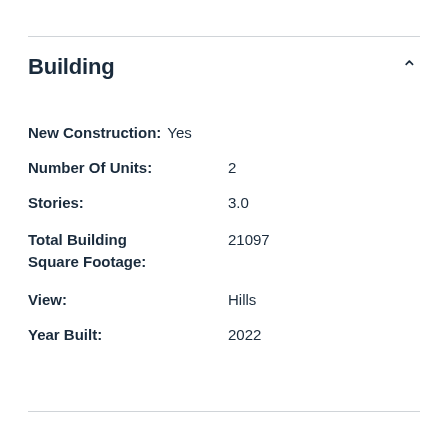Building
New Construction: Yes
Number Of Units: 2
Stories: 3.0
Total Building Square Footage: 21097
View: Hills
Year Built: 2022